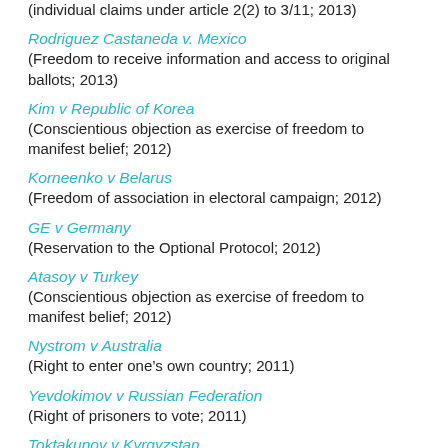(individual claims under article 2(2) to 3/11; 2013)
Rodriguez Castaneda v. Mexico
(Freedom to receive information and access to original ballots; 2013)
Kim v Republic of Korea
(Conscientious objection as exercise of freedom to manifest belief; 2012)
Korneenko v Belarus
(Freedom of association in electoral campaign; 2012)
GE v Germany
(Reservation to the Optional Protocol; 2012)
Atasoy v Turkey
(Conscientious objection as exercise of freedom to manifest belief; 2012)
Nystrom v Australia
(Right to enter one’s own country; 2011)
Yevdokimov v Russian Federation
(Right of prisoners to vote; 2011)
Toktakunov v Kyrgyzstan